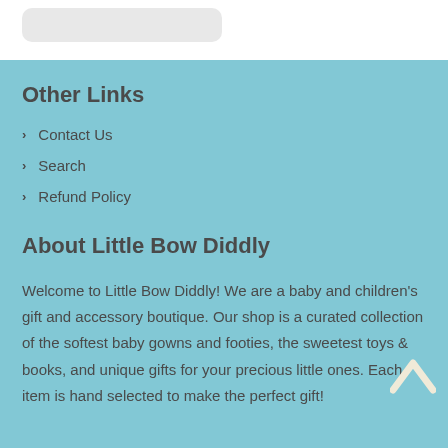[Figure (other): Rounded grey rectangle placeholder box in white header area]
Other Links
Contact Us
Search
Refund Policy
About Little Bow Diddly
Welcome to Little Bow Diddly! We are a baby and children’s gift and accessory boutique. Our shop is a curated collection of the softest baby gowns and footies, the sweetest toys & books, and unique gifts for your precious little ones. Each item is hand selected to make the perfect gift!